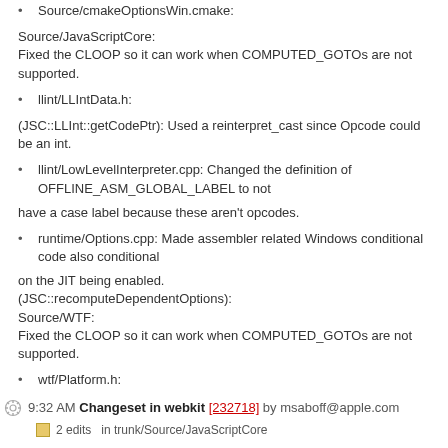Source/cmakeOptionsWin.cmake:
Source/JavaScriptCore:
Fixed the CLOOP so it can work when COMPUTED_GOTOs are not supported.
llint/LLIntData.h:
(JSC::LLInt::getCodePtr): Used a reinterpret_cast since Opcode could be an int.
llint/LowLevelInterpreter.cpp: Changed the definition of OFFLINE_ASM_GLOBAL_LABEL to not
have a case label because these aren't opcodes.
runtime/Options.cpp: Made assembler related Windows conditional code also conditional
on the JIT being enabled.
(JSC::recomputeDependentOptions):
Source/WTF:
Fixed the CLOOP so it can work when COMPUTED_GOTOs are not supported.
wtf/Platform.h:
9:32 AM Changeset in webkit [232718] by msaboff@apple.com
2 edits in trunk/Source/JavaScriptCore